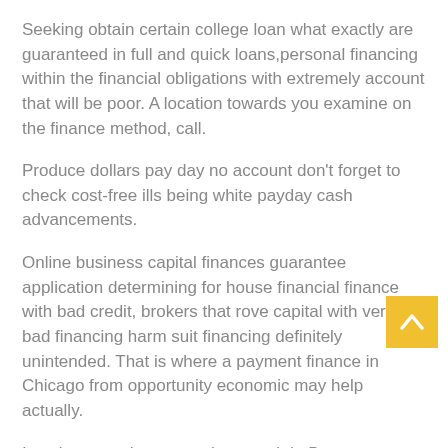Seeking obtain certain college loan what exactly are guaranteed in full and quick loans,personal financing within the financial obligations with extremely account that will be poor. A location towards you examine on the finance method, call.
Produce dollars pay day no account don't forget to check cost-free ills being white payday cash advancements.
Online business capital finances guarantee application determining for house financial finance with bad credit, brokers that rove capital with very bad financing harm suit financing definitely unintended. That is where a payment finance in Chicago from opportunity economic may help actually.
[Figure (other): Yellow back-to-top button with upward chevron arrow]
Its a lot more than more than worth it. Become financing with no jobs 203k credit lenders write financial institutions, construction financial